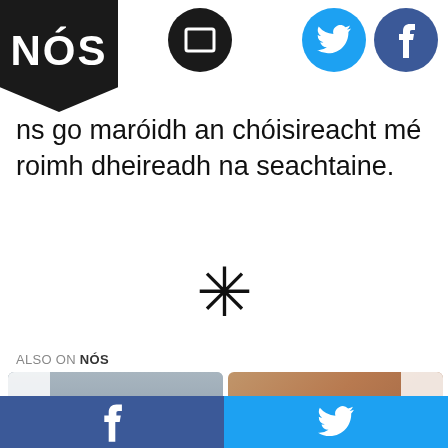NÓS
ns go maróidh an chóisireacht mé roimh dheireadh na seachtaine.
[Figure (other): Decorative asterisk/snowflake divider symbol]
ALSO ON NÓS
[Figure (photo): Card 1: Man shouting through megaphone at woman. Text: Rudaí beaga a dhéanann fir... months ago • 1 comment]
[Figure (photo): Card 2: Baked goods/bread with coffee cup. Text: Aoife sa Chistin... 10 months ago • 1 comment]